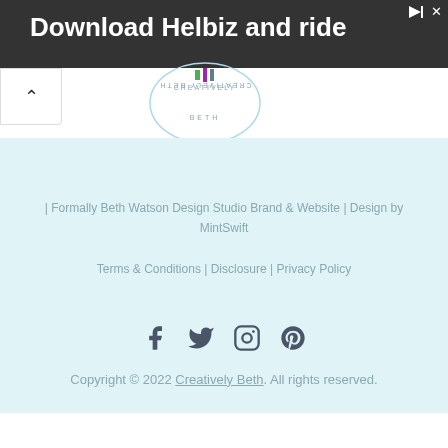[Figure (photo): Advertisement banner with dark background showing person on scooter and text 'Download Helbiz and ride' with ad icons top right]
[Figure (logo): Circular logo with text 'CREATIVELY BETH' arranged in a circle]
| Formally Beth Watson Design Studio Brand & Website | Design by MintSwift
Terms & Conditions | Disclosure | Privacy Policy
[Figure (other): Social media icons: Facebook, Twitter, Instagram, Pinterest]
Copyright © 2022 Creatively Beth. All rights reserved.